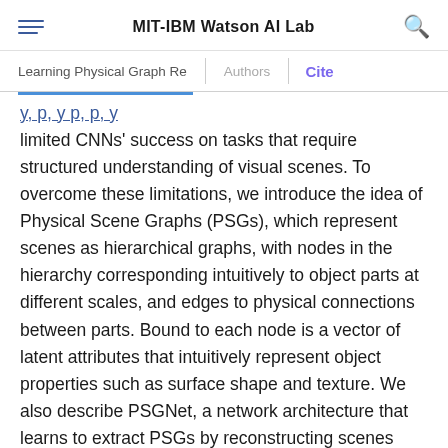MIT-IBM Watson AI Lab
Learning Physical Graph Re | Authors | Cite
limited CNNs' success on tasks that require structured understanding of visual scenes. To overcome these limitations, we introduce the idea of Physical Scene Graphs (PSGs), which represent scenes as hierarchical graphs, with nodes in the hierarchy corresponding intuitively to object parts at different scales, and edges to physical connections between parts. Bound to each node is a vector of latent attributes that intuitively represent object properties such as surface shape and texture. We also describe PSGNet, a network architecture that learns to extract PSGs by reconstructing scenes through a PSG-structured bottleneck. PSGNet augments standard CNNs by